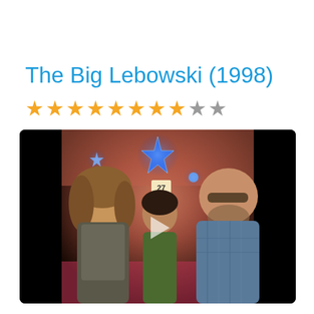The Big Lebowski (1998)
★★★★★★★★☆★ (8 filled stars, 2 empty stars rating)
[Figure (photo): Movie still from The Big Lebowski (1998) showing three men sitting in a bowling alley booth. The Dude (Jeff Bridges) is on the left with long hair and a grey shirt, a second man in the middle with dark hair and green shirt, and Walter (John Goodman) on the right wearing sunglasses and a blue plaid shirt. Blue decorative star lights are visible in the background. A play button overlay is visible in the center.]